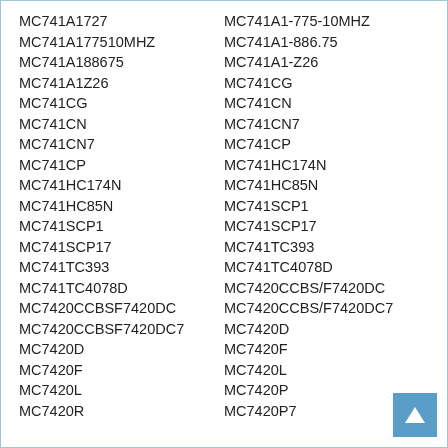MC741A1727
MC741A177510MHZ
MC741A188675
MC741A1Z26
MC741CG
MC741CN
MC741CN7
MC741CP
MC741HC174N
MC741HC85N
MC741SCP1
MC741SCP17
MC741TC393
MC741TC4078D
MC7420CCBSF7420DC
MC7420CCBSF7420DC7
MC7420D
MC7420F
MC7420L
MC7420R
MC741A1-775-10MHZ
MC741A1-886.75
MC741A1-Z26
MC741CG
MC741CN
MC741CN7
MC741CP
MC741HC174N
MC741HC85N
MC741SCP1
MC741SCP17
MC741TC393
MC741TC4078D
MC7420CCBS/F7420DC
MC7420CCBS/F7420DC7
MC7420D
MC7420F
MC7420L
MC7420P
MC7420P7